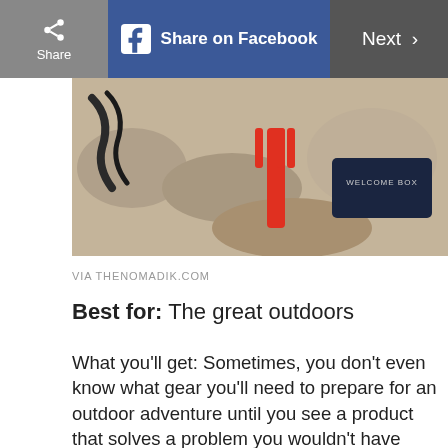[Figure (screenshot): Top navigation bar with Share button, Share on Facebook button (blue), and Next button on dark grey background]
[Figure (photo): Outdoor gear photo showing a red fork/spoon utensil, rope, rocks, and a dark box labeled WELCOME BOX]
VIA THENOMADIK.COM
Best for: The great outdoors
What you'll get: Sometimes, you don't even know what gear you'll need to prepare for an outdoor adventure until you see a product that solves a problem you wouldn't have even anticipated. That's where the Nomadik box comes in handy as a great option for gifts for your boyfriend, as each box comes with three to seven full-sized premium products